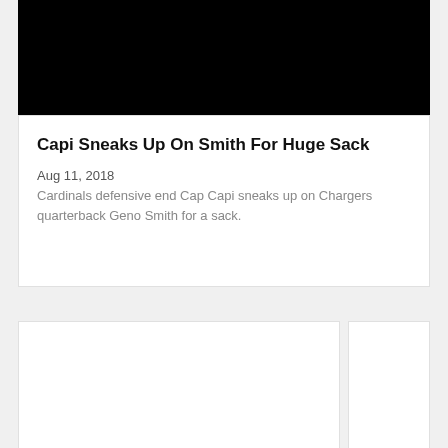[Figure (photo): Black image area at top of article card]
Capi Sneaks Up On Smith For Huge Sack
Aug 11, 2018
Cardinals defensive end Cap Capi sneaks up on Chargers quarterback Geno Smith for a sack.
[Figure (photo): White card bottom left, image area]
[Figure (photo): White card bottom right, image area]